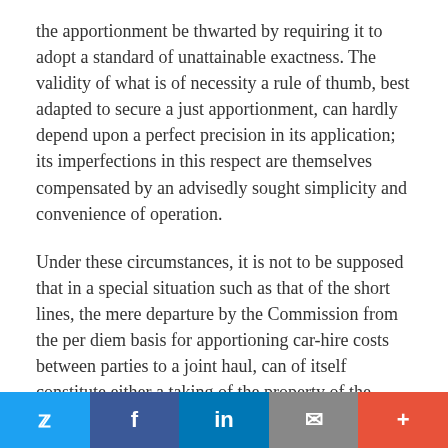the apportionment be thwarted by requiring it to adopt a standard of unattainable exactness. The validity of what is of necessity a rule of thumb, best adapted to secure a just apportionment, can hardly depend upon a perfect precision in its application; its imperfections in this respect are themselves compensated by an advisedly sought simplicity and convenience of operation.
Under these circumstances, it is not to be supposed that in a special situation such as that of the short lines, the mere departure by the Commission from the per diem basis for apportioning car-hire costs between parties to a joint haul, can of itself constitute either a taking of the property of the carrier affected by it, or a taking of it without compensation. The appellants have no vested right not to pay their share of the hire of cars engaged in a joint service to which they are parties, simply because those cars are temporarily off their
Twitter | Facebook | LinkedIn | Email | +